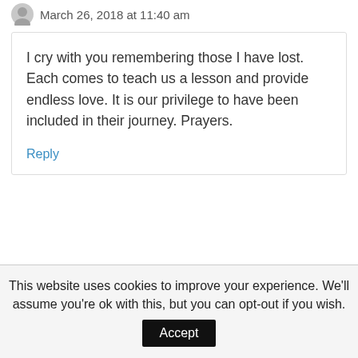March 26, 2018 at 11:40 am
I cry with you remembering those I have lost. Each comes to teach us a lesson and provide endless love. It is our privilege to have been included in their journey. Prayers.
Reply
This website uses cookies to improve your experience. We'll assume you're ok with this, but you can opt-out if you wish.